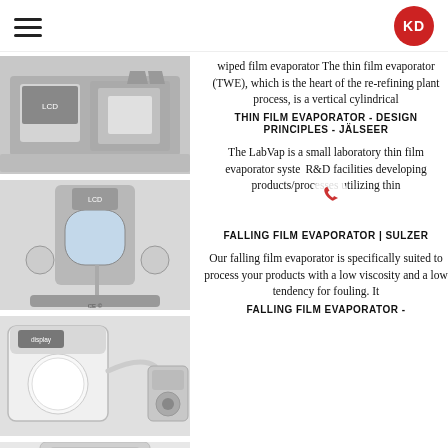KD [logo]
[Figure (photo): Industrial wiped film / thin film evaporator machine, stainless steel, top view]
wiped film evaporator The thin film evaporator (TWE), which is the heart of the re-refining plant process, is a vertical cylindrical
THIN FILM EVAPORATOR - DESIGN PRINCIPLES - JÄLSEER
[Figure (photo): Laboratory thin film evaporator system (LabVap), glass vessel visible, on wheeled cart with CE marking]
The LabVap is a small laboratory thin film evaporator system R&D facilities developing products/processes utilizing thin
FALLING FILM EVAPORATOR | SULZER
[Figure (photo): Freeze dryer / lyophilizer laboratory unit with vacuum pump]
Our falling film evaporator is specifically suited to process your products with a low viscosity and a low tendency for fouling. It
FALLING FILM EVAPORATOR -
[Figure (photo): White cylindrical laboratory evaporator unit, partial view at bottom]